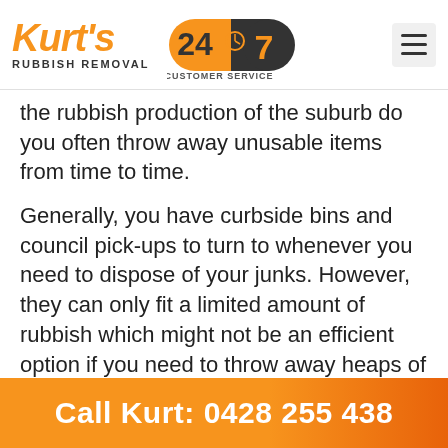[Figure (logo): Kurt's Rubbish Removal logo with orange italic text and 24/7 Customer Service badge]
the rubbish production of the suburb do you often throw away unusable items from time to time.
Generally, you have curbside bins and council pick-ups to turn to whenever you need to dispose of your junks. However, they can only fit a limited amount of rubbish which might not be an efficient option if you need to throw away heaps of unwanted items.
Kurt's Rubbish Removal is your best option when removing enormous loads of rubbish in East Hills. Our professional removalists team does an
Call Kurt: 0428 255 438